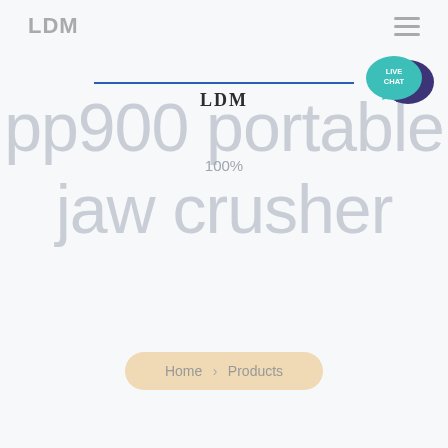LDM
[Figure (illustration): Live Chat bubble icon — teal speech bubble with 'LIVE CHAT' text and a dark purple speech bubble behind it]
LDM
pp900 portable
jaw crusher
100%
Home > Products